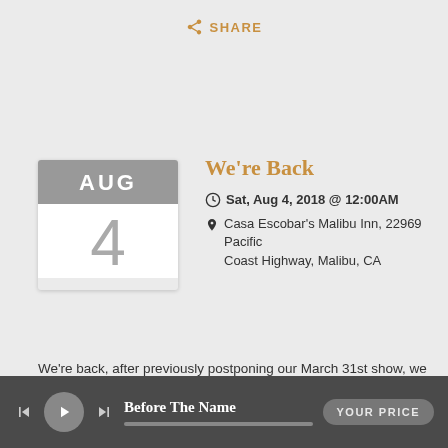SHARE
[Figure (other): Calendar icon showing AUG 4]
We're Back
Sat, Aug 4, 2018 @ 12:00AM
Casa Escobar's Malibu Inn, 22969 Pacific Coast Highway, Malibu, CA
We're back, after previously postponing our March 31st show, we are really ready to hit the stage with some new songs and dialed in arrangements. Everyone had been asking us about the next show in Malibu, well here it is! We really need to have everyone there and it looks like they will be. So reservations are recommended.
Before The Name  YOUR PRICE